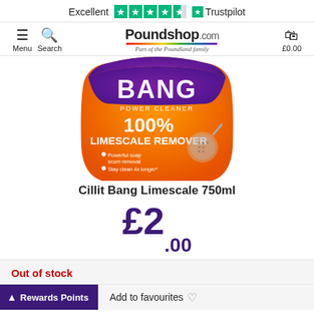Excellent ★★★★½ Trustpilot
[Figure (screenshot): Poundshop.com website header with Menu, Search, Poundshop.com logo (Part of the Poundland family), and basket showing £0.00]
[Figure (photo): Cillit Bang Power Cleaner 100% Limescale Remover 750ml orange and purple bottle with shower head image]
Cillit Bang Limescale 750ml
£2.00
Out of stock
Rewards Points
Add to favourites